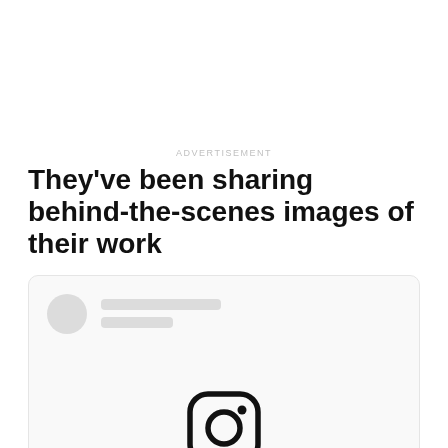ADVERTISEMENT
They've been sharing behind-the-scenes images of their work
[Figure (screenshot): A social media card UI mockup with a circular avatar placeholder, two skeleton loading lines for username/handle, and an Instagram icon centered in the lower portion of the card.]